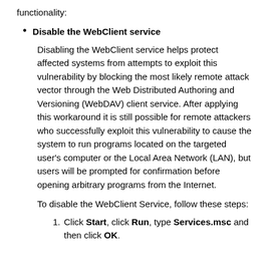functionality:
Disable the WebClient service
Disabling the WebClient service helps protect affected systems from attempts to exploit this vulnerability by blocking the most likely remote attack vector through the Web Distributed Authoring and Versioning (WebDAV) client service. After applying this workaround it is still possible for remote attackers who successfully exploit this vulnerability to cause the system to run programs located on the targeted user's computer or the Local Area Network (LAN), but users will be prompted for confirmation before opening arbitrary programs from the Internet.
To disable the WebClient Service, follow these steps:
Click Start, click Run, type Services.msc and then click OK.